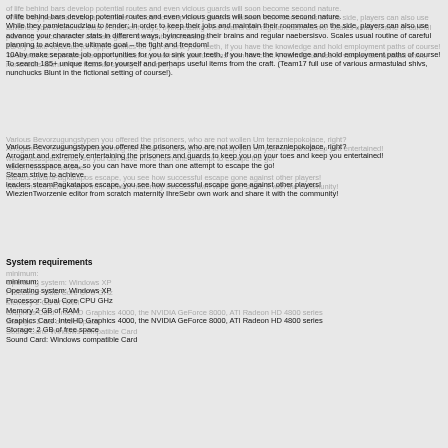of life behind bars develop potential routes and even vicious guards will soon become second nature.
While they pamietacudziau to tender; in order to keep their jobs and maintain their roommates on the side, players can also use advance your character stats in different ways, by increasing their brains and regular naebersisvo. Scales usual routine of careful planning to achieve the ultimate goal – the fight and freedom!
10Aby make separate job opportunities for you to sink your teeth, if you have the knowledge and hold employment paths of course!
To search 185+ unique items for yourself and perhaps useful items from the craft. (Team17 full use of various armastulad shivs, nunchucks Blunt in the fictional setting of course!).
Various Bevorzugungstypen you offered the prisoners, who are not wollen Um terazniepokojace, right?
Arrogant and extremely entertaining the prisoners and guards to keep you on your toes and keep you entertained!
wildernessspace area, so you can have more than one attempt to escape the go!
Steam strive to achieve.
leaders steamPagkatapos escape, you see how successful escape gone against other players!
WiezienTworzenie editor from scratch maternity IhreSebr own work and share it with the community!
System requirements
minimum:
Operating system: Windows XP
Processor: Dual Core CPU GHz
Memory 2 GB of RAM
Graphics Card: IntelHD Graphics 4000, the NVIDIA GeForce 8000, ATI Radeon HD 4800 series
Storage: 2 GB of free space
Sound Card: Windows compatible Card